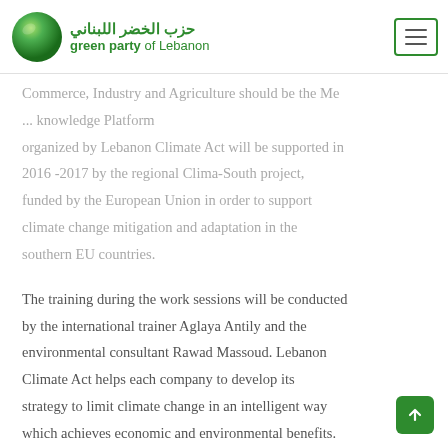حزب الخضر اللبناني — green party of Lebanon
Commerce, Industry and Agriculture should be the Members of the Lebanese Knowledge Platform organized by Lebanon Climate Act will be supported in 2016 -2017 by the regional Clima-South project, funded by the European Union in order to support climate change mitigation and adaptation in the southern EU countries.
The training during the work sessions will be conducted by the international trainer Aglaya Antily and the environmental consultant Rawad Massoud. Lebanon Climate Act helps each company to develop its strategy to limit climate change in an intelligent way which achieves economic and environmental benefits. Green Mind's president, Nada Zaarour, confirmed during the opening of the first training session, that